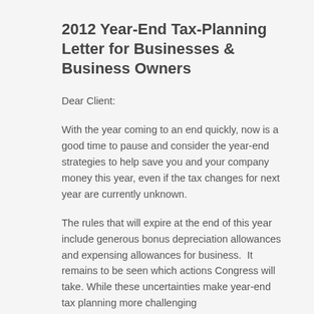2012 Year-End Tax-Planning Letter for Businesses & Business Owners
Dear Client:
With the year coming to an end quickly, now is a good time to pause and consider the year-end strategies to help save you and your company money this year, even if the tax changes for next year are currently unknown.
The rules that will expire at the end of this year include generous bonus depreciation allowances and expensing allowances for business.  It remains to be seen which actions Congress will take. While these uncertainties make year-end tax planning more challenging